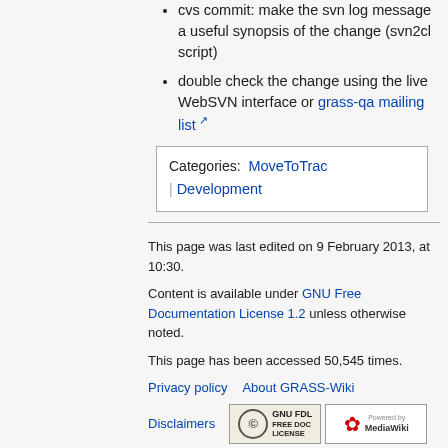cvs commit: make the svn log message a useful synopsis of the change (svn2cl script)
double check the change using the live WebSVN interface or grass-qa mailing list
Categories: MoveToTrac | Development
This page was last edited on 9 February 2013, at 10:30.
Content is available under GNU Free Documentation License 1.2 unless otherwise noted.
This page has been accessed 50,545 times.
Privacy policy   About GRASS-Wiki   Disclaimers